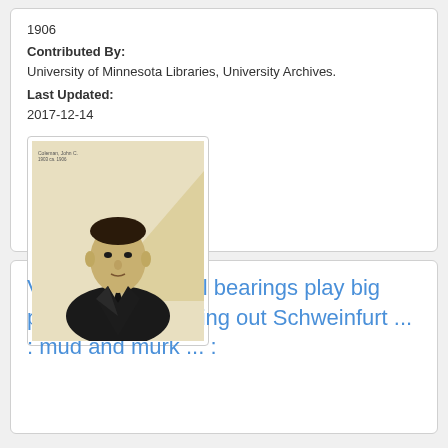1906
Contributed By:
University of Minnesota Libraries, University Archives.
Last Updated:
2017-12-14
[Figure (photo): Black and white portrait photograph of a young man in a suit, mounted on cream/beige card stock with a diagonal light area, small text caption at top.]
Vital Spots ? small bearings play big parts in war : blotting out Schweinfurt ... : mud and murk ... :